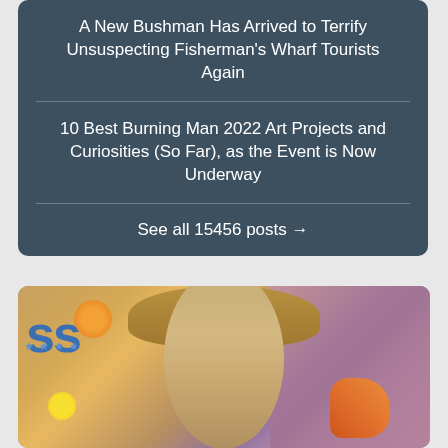A New Bushman Has Arrived to Terrify Unsuspecting Fisherman's Wharf Tourists Again
10 Best Burning Man 2022 Art Projects and Curiosities (So Far), as the Event is Now Underway
See all 15456 posts →
[Figure (photo): A man with blond hair speaking, with a TV studio background showing 'ss' text and colorful elements]